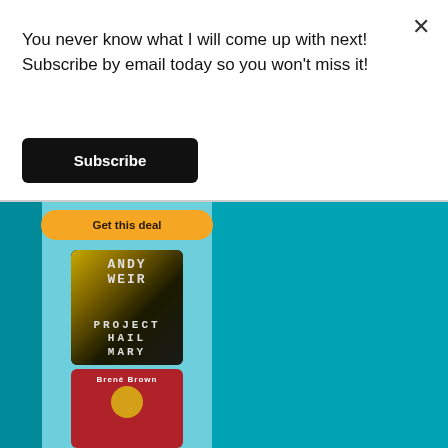You never know what I will come up with next! Subscribe by email today so you won't miss it!
[Figure (screenshot): Black 'Subscribe' button]
[Figure (screenshot): Teal background area with an orange 'Get this deal' pill button, an Andy Weir 'Project Hail Mary' book cover (black with yellow/gold brushstroke), and a Brené Brown book cover (red with gold circle and illustrated figure)]